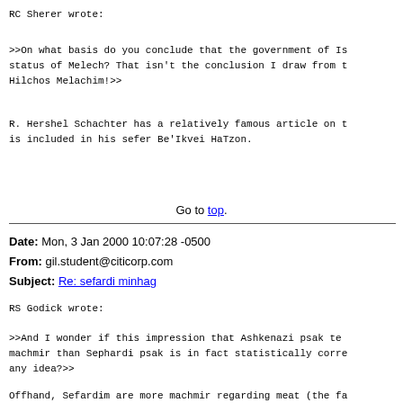RC Sherer wrote:
>>On what basis do you conclude that the government of Is status of Melech? That isn't the conclusion I draw from t Hilchos Melachim!>>
R. Hershel Schachter has a relatively famous article on t is included in his sefer Be'Ikvei HaTzon.
Go to top.
Date: Mon, 3 Jan 2000 10:07:28 -0500
From: gil.student@citicorp.com
Subject: Re: sefardi minhag
RS Godick wrote:
>>And I wonder if this impression that Ashkenazi psak te machmir than Sephardi psak is in fact statistically corre any idea?>>
Offhand, Sefardim are more machmir regarding meat (the fa